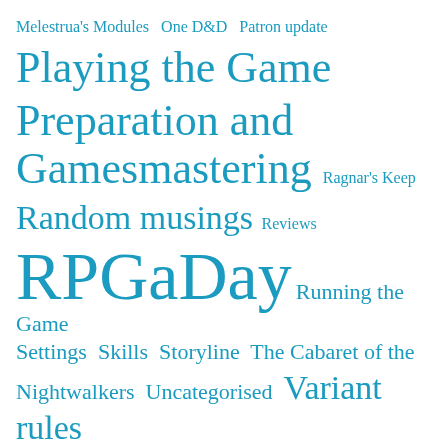Melestrua's Modules  One D&D  Patron update
Playing the Game
Preparation and
Gamesmastering  Ragnar's Keep
Random musings  Reviews
RPGaDay  Running the Game
Settings  Skills  Storyline  The Cabaret of the
Nightwalkers  Uncategorised  Variant rules
Worldbuilding